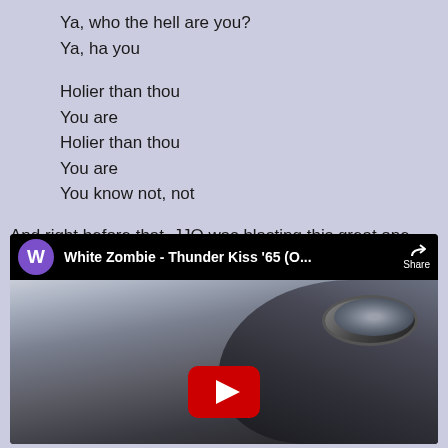Ya, who the hell are you?
Ya, ha you

Holier than thou
You are
Holier than thou
You are
You know not, not

And right before that, JJO was blasting this great one from my college days.
[Figure (screenshot): YouTube video embed showing 'White Zombie - Thunder Kiss '65 (O...' with a purple W channel icon, Share button, and a dark thumbnail with a person wearing goggles and a YouTube play button overlay.]